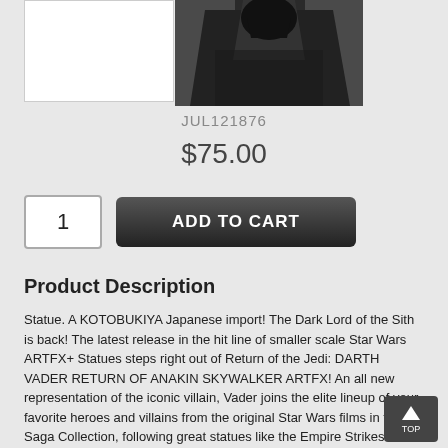[Figure (photo): Product image area showing a Darth Vader ARTFX+ statue in black against a white/dark background]
JUL121876
$75.00
1
ADD TO CART
Product Description
Statue. A KOTOBUKIYA Japanese import! The Dark Lord of the Sith is back! The latest release in the hit line of smaller scale Star Wars ARTFX+ Statues steps right out of Return of the Jedi: DARTH VADER RETURN OF ANAKIN SKYWALKER ARTFX! An all new representation of the iconic villain, Vader joins the elite lineup of your favorite heroes and villains from the original Star Wars films in the Saga Collection, following great statues like the Empire Strikes Back...